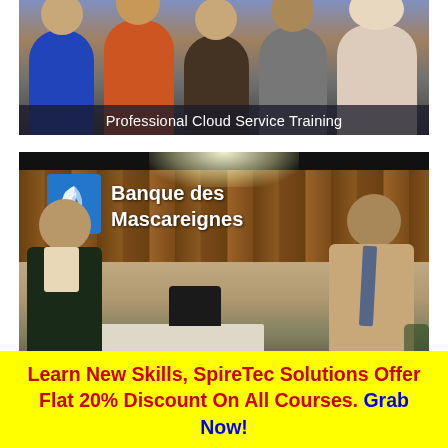[Figure (photo): Group photo of several people standing together, professional cloud service training context]
Professional Cloud Service Training
[Figure (photo): Two men shaking hands in front of a Banque des Mascareignes bank office reception desk]
Learn New Skills, SpireTec Solutions Offer Flat 20% Discount On All Courses. Grab Now!